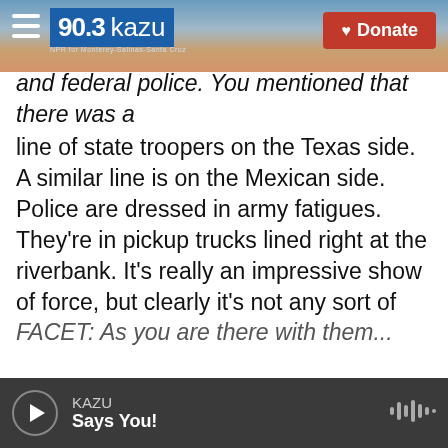90.3 KAZU | Donate
and federal police. You mentioned that there was a line of state troopers on the Texas side. A similar line is on the Mexican side. Police are dressed in army fatigues. They're in pickup trucks lined right at the riverbank. It's really an impressive show of force, but clearly it's not any sort of enforcement or sealing of the border on this side. Several migration officials and international groups have arrived to the park, and they are trying to urge the Haitians to return to southern Mexico. They want them to stay them down there, especially if they plan to ask to remain in Mexico.
FACET: As you...
KAZU — Says You!